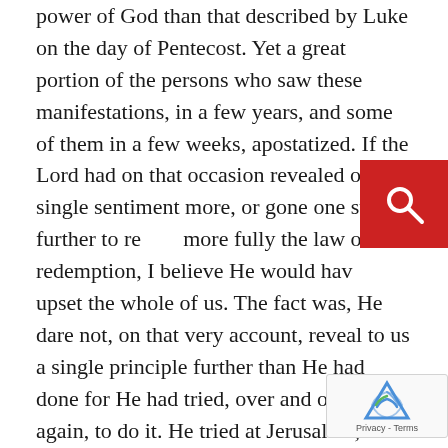power of God than that described by Luke on the day of Pentecost. Yet a great portion of the persons who saw these manifestations, in a few years, and some of them in a few weeks, apostatized. If the Lord had on that occasion revealed one single sentiment more, or gone one step further to reveal more fully the law of redemption, I believe He would have upset the whole of us. The fact was, He dare not, on that very account, reveal to us a single principle further than He had done for He had tried, over and over again, to do it. He tried at Jerusalem; He tried away back before the flood; He tried in the days of Moses; and He had tried, from time to time, to find a people to whom He could reveal the law of salvation, and He never could fully accomplish it; and He was determined this time to be so careful, and advance the idea so slowly, to communicate them to the children of men with such great caution that, at all hazards, a few of them might be able to understand and obey. For, says the Lord, My ways are not as your ways, nor My thoughts as your thoughts; for as